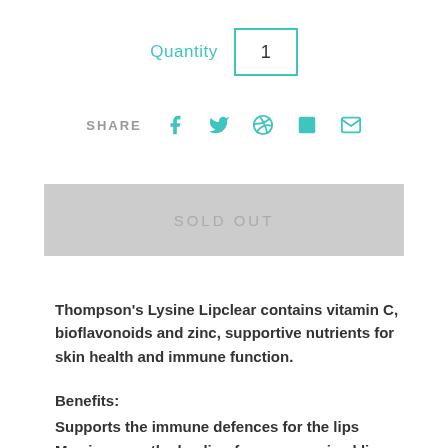Quantity  1
SHARE
SOLD OUT
Thompson's Lysine Lipclear contains vitamin C, bioflavonoids and zinc, supportive nutrients for skin health and immune function.
Benefits:
Supports the immune defences for the lips
May improve the healing for compromised lips